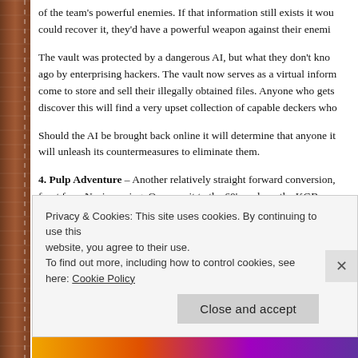of the team's powerful enemies. If that information still exists it would could recover it, they'd have a powerful weapon against their enemi
The vault was protected by a dangerous AI, but what they don't kno ago by enterprising hackers. The vault now serves as a virtual inform come to store and sell their illegally obtained files. Anyone who gets discover this will find a very upset collection of capable deckers who
Should the AI be brought back online it will determine that anyone it will unleash its countermeasures to eliminate them.
4. Pulp Adventure – Another relatively straight forward conversion, front for a Nazi spy ring. Or move it to the 60's and use the KGB.
The hook for the players would be a series of sabotage incidents at disappearance of an allied agent and the kidnapping of a senator's
Privacy & Cookies: This site uses cookies. By continuing to use this website, you agree to their use.
To find out more, including how to control cookies, see here: Cookie Policy
Close and accept